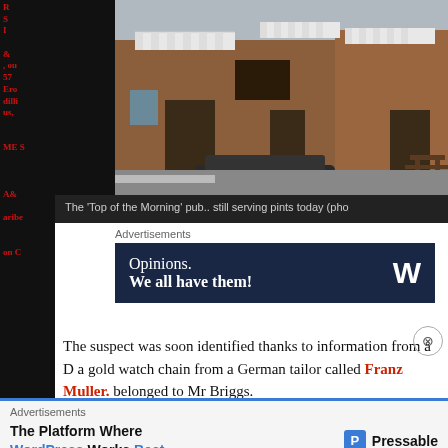[Figure (photo): Photo of the 'Top of the Morning' pub, a wooden-clad building with striped awnings, still serving pints today]
The 'Top of the Morning' pub.. still serving pints today (pho
Advertisements
[Figure (screenshot): WordPress advertisement banner: 'Opinions. We all have them!' on dark navy background with WordPress logo]
The suspect was soon identified thanks to information from a D a gold watch chain from a German tailor called Franz Muller. belonged to Mr Briggs.
Advertisements
[Figure (screenshot): Pressable advertisement: 'The Platform Where WordPress Works Best' with Pressable logo]